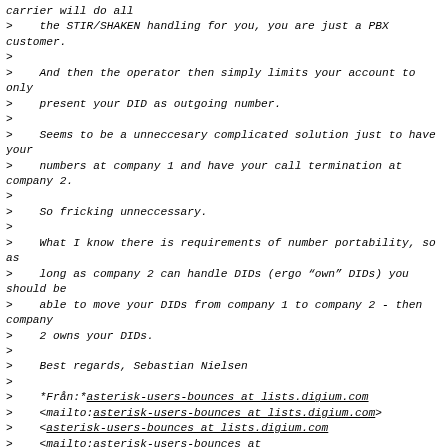carrier will do all
>    the STIR/SHAKEN handling for you, you are just a PBX customer.
>
>    And then the operator then simply limits your account to only
>    present your DID as outgoing number.
>
>    Seems to be a unneccesary complicated solution just to have your
>    numbers at company 1 and have your call termination at company 2.
>
>    So fricking unneccessary.
>
>    What I know there is requirements of number portability, so as
>    long as company 2 can handle DIDs (ergo “own” DIDs) you should be
>    able to move your DIDs from company 1 to company 2 - then company
>    2 owns your DIDs.
>
>    Best regards, Sebastian Nielsen
>
>    *Från:*asterisk-users-bounces at lists.digium.com
>    <mailto:asterisk-users-bounces at lists.digium.com>
>    <asterisk-users-bounces at lists.digium.com
>    <mailto:asterisk-users-bounces at